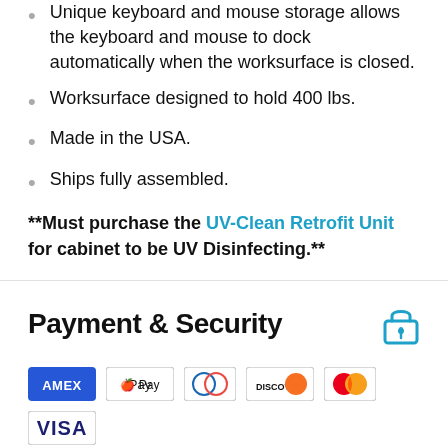Unique keyboard and mouse storage allows the keyboard and mouse to dock automatically when the worksurface is closed.
Worksurface designed to hold 400 lbs.
Made in the USA.
Ships fully assembled.
**Must purchase the UV-Clean Retrofit Unit for cabinet to be UV Disinfecting.**
Payment & Security
[Figure (other): Payment method icons: American Express, Apple Pay, Diners Club, Discover, Mastercard, Visa]